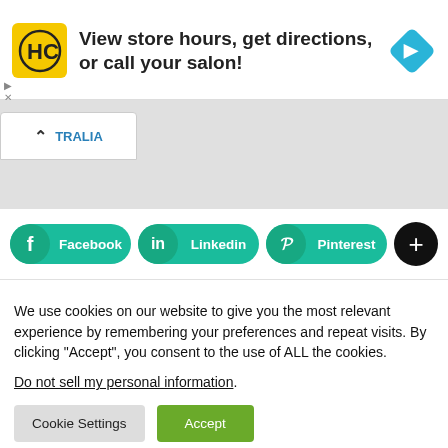[Figure (infographic): Advertisement banner with HC logo (yellow square), text 'View store hours, get directions, or call your salon!', and a blue diamond navigation icon on the right]
[Figure (screenshot): Partial map tab area showing a white tab with up chevron and partial text 'TRALIA' in blue]
[Figure (infographic): Social sharing bar with three teal pill-shaped buttons: Facebook (f icon), LinkedIn (in icon), Pinterest (P icon), and a black circle plus button]
We use cookies on our website to give you the most relevant experience by remembering your preferences and repeat visits. By clicking "Accept", you consent to the use of ALL the cookies.
Do not sell my personal information.
Cookie Settings
Accept